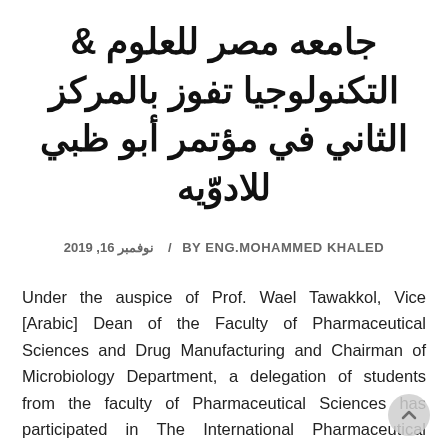جامعه مصر للعلوم & التكنولوجيا تفوز بالمركز الثاني في مؤتمر أبو ظبي للادوّيه
نوفمبر 16, 2019 / BY ENG.MOHAMMED KHALED
Under the auspice of Prof. Wael Tawakkol, Vice [Arabic] Dean of the Faculty of Pharmaceutical Sciences and Drug Manufacturing and Chairman of Microbiology Department, a delegation of students from the faculty of Pharmaceutical Sciences has participated in The International Pharmaceutical Federation (FIP) that held in Abu Dhabi in September 2019. The delegation's ...research study